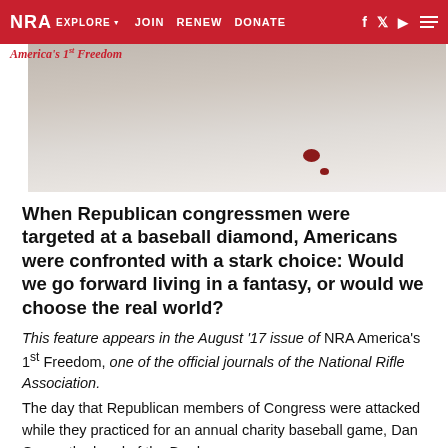NRA EXPLORE ▼   JOIN   RENEW   DONATE
[Figure (photo): Partial view of a shooting target with bullet holes on a gray/beige surface]
When Republican congressmen were targeted at a baseball diamond, Americans were confronted with a stark choice: Would we go forward living in a fantasy, or would we choose the real world?
This feature appears in the August '17 issue of NRA America's 1st Freedom, one of the official journals of the National Rifle Association.
The day that Republican members of Congress were attacked while they practiced for an annual charity baseball game, Dan Gross, the head of the Brady